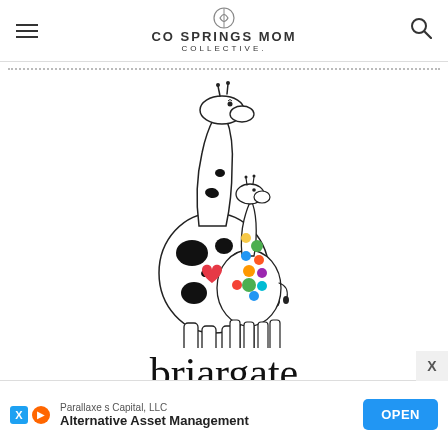CO SPRINGS MOM COLLECTIVE.
[Figure (logo): Briargate logo featuring two giraffes (large adult and small baby) with colorful spots including a red heart, in black and white outline style, with the word 'briargate' below in thin serif font and a tagline underneath]
[Figure (screenshot): Advertisement banner for Parallaxe s Capital, LLC — Alternative Asset Management, with an OPEN button]